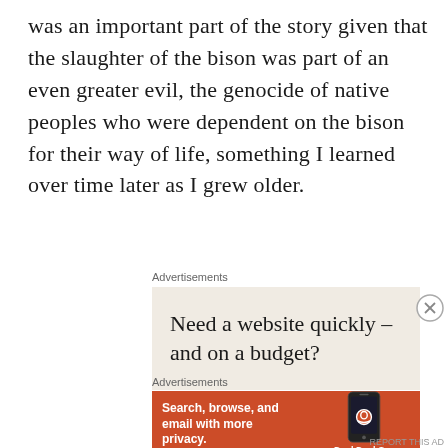was an important part of the story given that the slaughter of the bison was part of an even greater evil, the genocide of native peoples who were dependent on the bison for their way of life, something I learned over time later as I grew older.
Advertisements
[Figure (other): Advertisement banner with beige background reading 'Need a website quickly – and on a budget?']
Advertisements
[Figure (other): DuckDuckGo advertisement on orange background: 'Search, browse, and email with more privacy. All in One Free App' with phone graphic and DuckDuckGo logo]